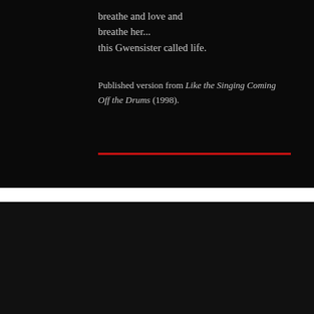breathe and love and
breathe her...
this Gwensister called life.
Published version from Like the Singing Coming Off the Drums (1998).
[Figure (other): Red horizontal dividing line]
Sonia Sanchez reads “Catch the Fire”